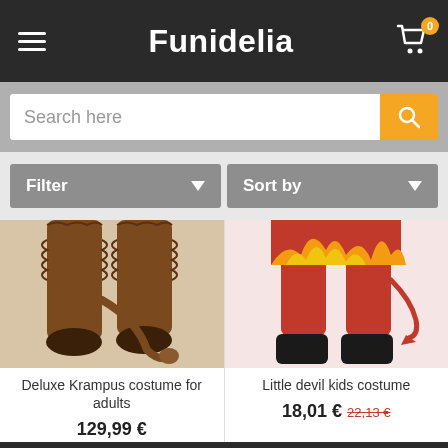Funidelia
Search here
Filter
Sort by
[Figure (photo): Legs of Deluxe Krampus costume for adults — brown furry legs with tail and hooves]
Deluxe Krampus costume for adults
129,99 €
[Figure (photo): Legs of Little devil kids costume — red tights with flame print top and black boots]
Little devil kids costume
18,01 € 22,13 €
We use our own and third party cookies in order to offer you a better service. You accept that by staying at our site. More info